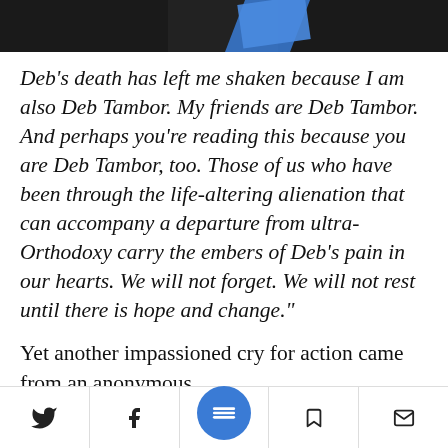[Figure (photo): Partial image at top of page showing a dark background with a blue angled shape visible at bottom of image]
Deb’s death has left me shaken because I am also Deb Tambor. My friends are Deb Tambor. And perhaps you’re reading this because you are Deb Tambor, too. Those of us who have been through the life-altering alienation that can accompany a departure from ultra-Orthodoxy carry the embers of Deb’s pain in our hearts. We will not forget. We will not rest until there is hope and change."
Yet another impassioned cry for action came from an anonymous… at I am Asherl:
[Figure (screenshot): Mobile app bottom toolbar with Twitter, Facebook, menu FAB button, bookmark, and mail icons]